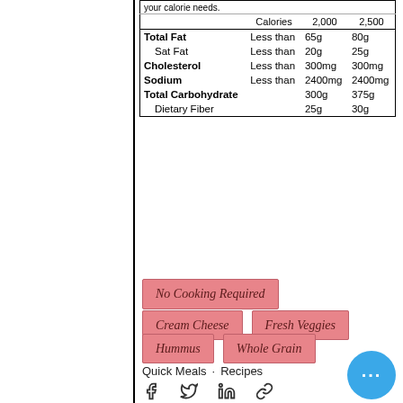|  |  | 2,000 | 2,500 |
| --- | --- | --- | --- |
| Total Fat | Less than | 65g | 80g |
| Sat Fat | Less than | 20g | 25g |
| Cholesterol | Less than | 300mg | 300mg |
| Sodium | Less than | 2400mg | 2400mg |
| Total Carbohydrate |  | 300g | 375g |
| Dietary Fiber |  | 25g | 30g |
No Cooking Required
Cream Cheese
Fresh Veggies
Hummus
Whole Grain
Quick Meals · Recipes